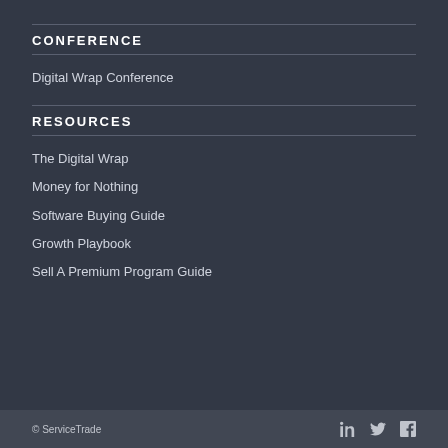CONFERENCE
Digital Wrap Conference
RESOURCES
The Digital Wrap
Money for Nothing
Software Buying Guide
Growth Playbook
Sell A Premium Program Guide
© ServiceTrade